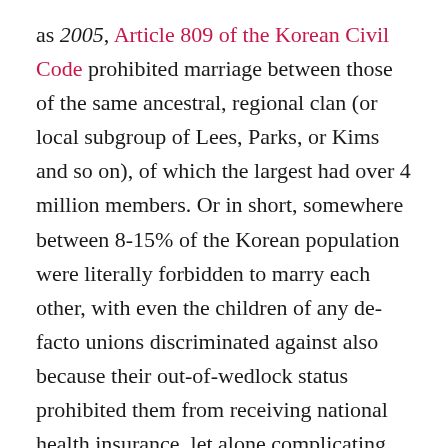as 2005, Article 809 of the Korean Civil Code prohibited marriage between those of the same ancestral, regional clan (or local subgroup of Lees, Parks, or Kims and so on), of which the largest had over 4 million members. Or in short, somewhere between 8-15% of the Korean population were literally forbidden to marry each other, with even the children of any de-facto unions discriminated against also because their out-of-wedlock status prohibited them from receiving national health insurance, let alone complicating inheritance and property rights.
But as it turned out in this case at least, my